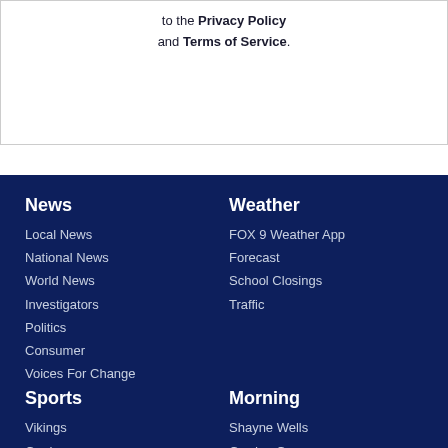to the Privacy Policy and Terms of Service.
News
Local News
National News
World News
Investigators
Politics
Consumer
Voices For Change
Weather
FOX 9 Weather App
Forecast
School Closings
Traffic
Sports
Vikings
Gophers
Morning
Shayne Wells
Garden Guy